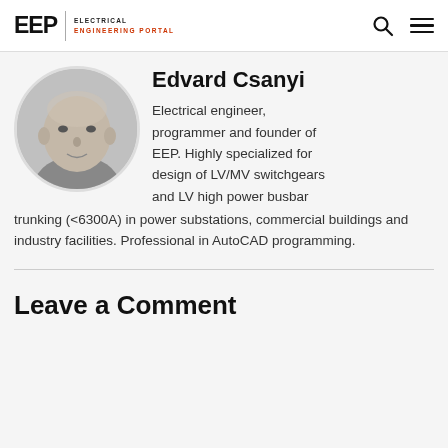EEP | ELECTRICAL ENGINEERING PORTAL
[Figure (photo): Circular profile photo of Edvard Csanyi, a bald man in grayscale]
Edvard Csanyi
Electrical engineer, programmer and founder of EEP. Highly specialized for design of LV/MV switchgears and LV high power busbar trunking (<6300A) in power substations, commercial buildings and industry facilities. Professional in AutoCAD programming.
Leave a Comment